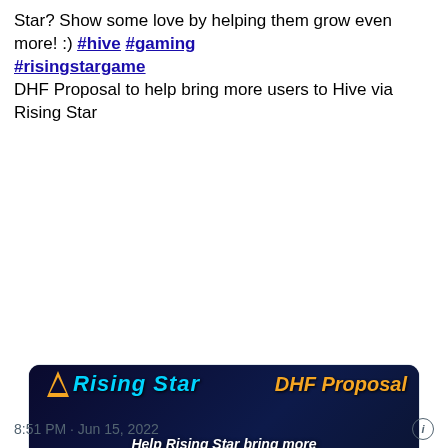Star? Show some love by helping them grow even more! :) #hive #gaming #risingstargame
DHF Proposal to help bring more users to Hive via Rising Star
[Figure (screenshot): Promotional image for Rising Star DHF Proposal showing the game logo, text 'Help Rising Star bring more new players to the HIVE ecosystem', game cards (Gaming Collection, FA4 Mega Fan NFT), and a bar chart showing 7000+ Regular Players growing over time.]
peakd.com
** UPDATED with Cost Breakdown ** DHF Proposal to help bring more users to Hive via Rising Star |...
8:51 PM · Jun 15, 2022